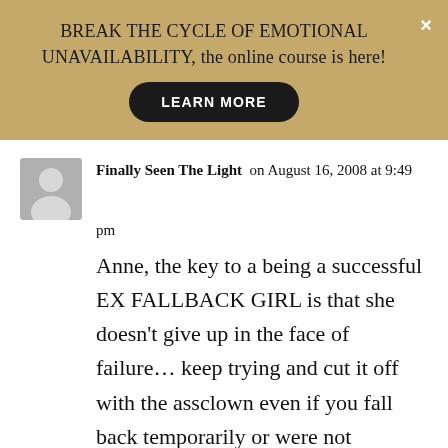BREAK THE CYCLE OF EMOTIONAL UNAVAILABILITY, the online course is here! LEARN MORE
Finally Seen The Light on August 16, 2008 at 9:49 pm
Anne, the key to a being a successful EX FALLBACK GIRL is that she doesn't give up in the face of failure… keep trying and cut it off with the assclown even if you fall back temporarily or were not successful. Just get right back up on that horse